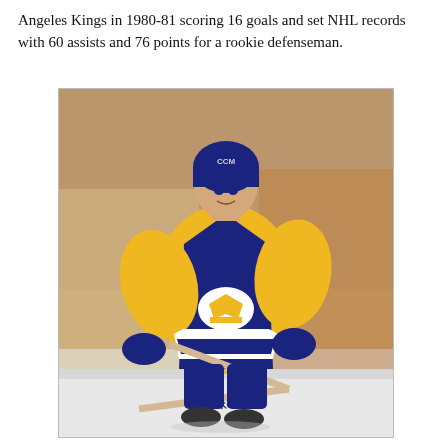Angeles Kings in 1980-81 scoring 16 goals and set NHL records with 60 assists and 76 points for a rookie defenseman.
[Figure (photo): A hockey player wearing the Los Angeles Kings vintage yellow and dark navy uniform with the crown logo and number 5, in a skating stance on the ice holding a stick.]